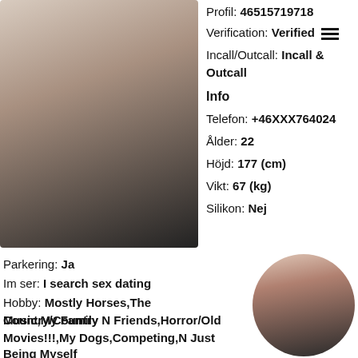[Figure (photo): Photo of a blonde woman in a black top]
Profil: 46515719718
Verification: Verified
Incall/Outcall: Incall & Outcall
Info
Telefon: +46XXX764024
Ålder: 22
Höjd: 177 (cm)
Vikt: 67 (kg)
Silikon: Nej
Parkering: Ja
Im ser: I search sex dating
Hobby: Mostly Horses,The Country/Country Music,My Family N Friends,Horror/Old Movies!!!,My Dogs,Competing,N Just Being Myself
Orientering: -
Nationalitet:
[Figure (photo): Circular thumbnail photo of a dark-haired woman]